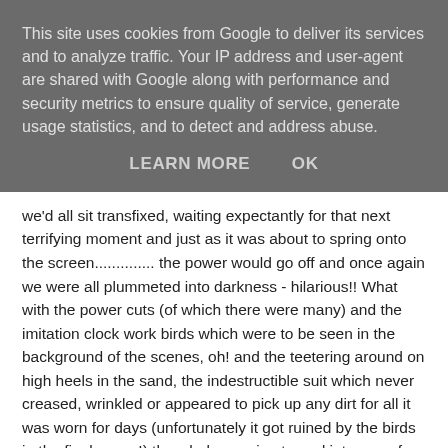This site uses cookies from Google to deliver its services and to analyze traffic. Your IP address and user-agent are shared with Google along with performance and security metrics to ensure quality of service, generate usage statistics, and to detect and address abuse.
LEARN MORE   OK
we'd all sit transfixed, waiting expectantly for that next terrifying moment and just as it was about to spring onto the screen.............. the power would go off and once again we were all plummeted into darkness - hilarious!! What with the power cuts (of which there were many) and the imitation clock work birds which were to be seen in the background of the scenes, oh! and the teetering around on high heels in the sand, the indestructible suit which never creased, wrinkled or appeared to pick up any dirt for all it was worn for days (unfortunately it got ruined by the birds in the final scene!) the whole evening turned into one of those that "could only happen in Tarset". A night I will remember for a long time to come!!